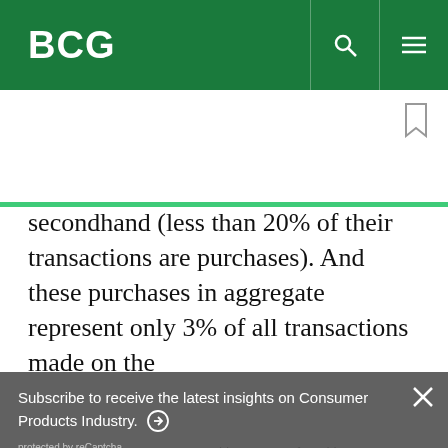BCG
secondhand (less than 20% of their transactions are purchases). And these purchases in aggregate represent only 3% of all transactions made on the
Subscribe to receive the latest insights on Consumer Products Industry. ➔
protected by reCaptcha
By using this site, you agree with our use of cookies.
I consent to cookies
Want to know more?
Read our Cookie Policy